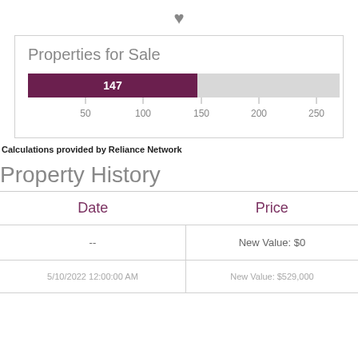[Figure (bar-chart): Properties for Sale]
Calculations provided by Reliance Network
Property History
| Date | Price |
| --- | --- |
| -- | New Value: $0 |
| 5/10/2022 12:00:00 AM | New Value: $529,000 |